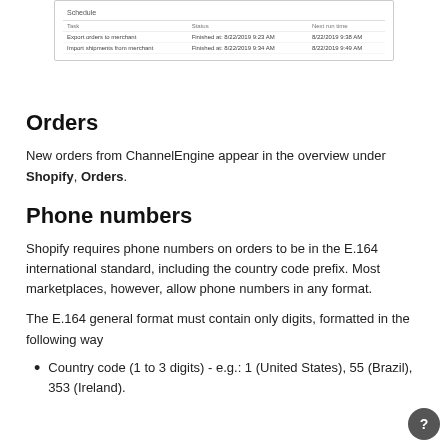[Figure (screenshot): Screenshot of a schedule table showing tasks 'Export orders to merchant' and 'Import shipments from merchant' with their statuses and next run times dated 8/22/2019.]
Orders
New orders from ChannelEngine appear in the overview under Shopify, Orders.
Phone numbers
Shopify requires phone numbers on orders to be in the E.164 international standard, including the country code prefix. Most marketplaces, however, allow phone numbers in any format.
The E.164 general format must contain only digits, formatted in the following way
Country code (1 to 3 digits) - e.g.: 1 (United States), 55 (Brazil), 353 (Ireland).